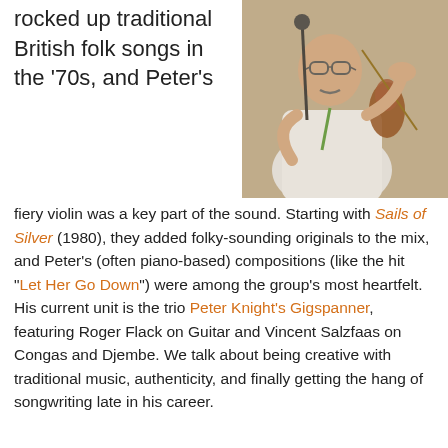rocked up traditional British folk songs in the '70s, and Peter's
[Figure (photo): Man playing violin at a microphone, wearing glasses and a white shirt with a green lanyard]
fiery violin was a key part of the sound. Starting with Sails of Silver (1980), they added folky-sounding originals to the mix, and Peter's (often piano-based) compositions (like the hit "Let Her Go Down") were among the group's most heartfelt. His current unit is the trio Peter Knight's Gigspanner, featuring Roger Flack on Guitar and Vincent Salzfaas on Congas and Djembe. We talk about being creative with traditional music, authenticity, and finally getting the hang of songwriting late in his career.